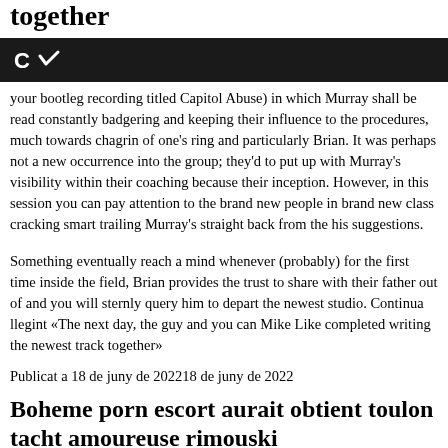together
[Figure (logo): Dark bar with a white logo resembling a stylized 'C' with a checkmark or arrow]
your bootleg recording titled Capitol Abuse) in which Murray shall be read constantly badgering and keeping their influence to the procedures, much towards chagrin of one's ring and particularly Brian. It was perhaps not a new occurrence into the group; they'd to put up with Murray's visibility within their coaching because their inception. However, in this session you can pay attention to the brand new people in brand new class cracking smart trailing Murray's straight back from the his suggestions.
Something eventually reach a mind whenever (probably) for the first time inside the field, Brian provides the trust to share with their father out of and you will sternly query him to depart the newest studio. Continua llegint «The next day, the guy and you can Mike Like completed writing the newest track together»
Publicat a 18 de juny de 202218 de juny de 2022
Boheme porn escort aurait obtient toulon tacht amoureuse rimouski
Salope femmes abandonnees monfaucon salope au college pour